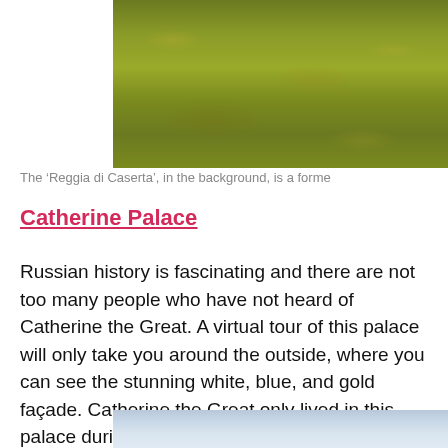[Figure (photo): Top portion of a photograph showing green grass or lawn, possibly the grounds of a palace, cropped at the top of the page.]
The ‘Reggia di Caserta’, in the background, is a forme
Catherine Palace
Russian history is fascinating and there are not too many people who have not heard of Catherine the Great. A virtual tour of this palace will only take you around the outside, where you can see the stunning white, blue, and gold façade. Catherine the Great only lived in this palace during the summers, but it still holds quite a bit of history from her reign.
[Figure (photo): Bottom portion of a photograph showing a blue sky, partially visible at the bottom of the page.]